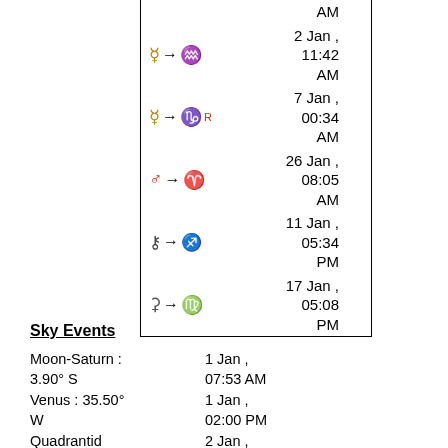| Symbol | Date/Time |
| --- | --- |
| Mercury → Aquarius | 2 Jan , 11:42 AM |
| Mercury → Capricorn Rx | 7 Jan , 00:34 AM |
| Mars → Aries | 26 Jan , 08:05 AM |
| Chiron → Sagittarius | 11 Jan , 05:34 PM |
| Ceres → Virgo | 17 Jan , 05:08 PM |
Sky Events
Moon-Saturn : 3.90° S    1 Jan , 07:53 AM
Venus : 35.50° W    1 Jan , 02:00 PM
Quadrantid Shower : ZHR = 120    2 Jan , 08:37 AM